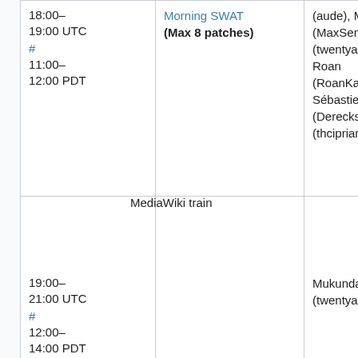| (margin) | Time | Event | People |
| --- | --- | --- | --- |
|  | 18:00–19:00 UTC # 11:00–12:00 PDT | Morning SWAT (Max 8 patches) | (aude), Max (MaxSem), M (twentyaft Roan (RoanKatto Sébastien (Dereckson (thciprian |
|  | 19:00–21:00 UTC # 12:00–14:00 PDT | MediaWiki train | Mukunda (twentyaft |